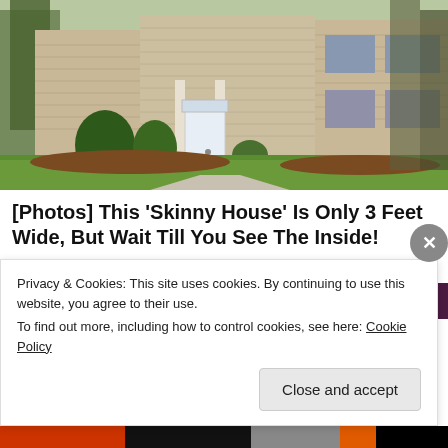[Figure (photo): Exterior photo of a large two-story colonial-style house with beige/tan siding, white pillar columns, white front door with transom window, manicured shrubs, mulched garden beds, and a green lawn. Trees visible in background.]
[Photos] This 'Skinny House' Is Only 3 Feet Wide, But Wait Till You See The Inside!
BuzzFond
Privacy & Cookies: This site uses cookies. By continuing to use this website, you agree to their use.
To find out more, including how to control cookies, see here: Cookie Policy